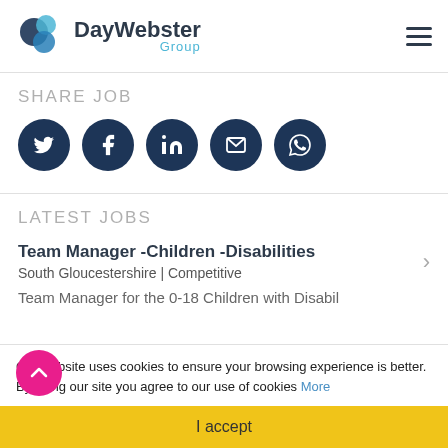[Figure (logo): DayWebster Group logo with overlapping blue circles and company name]
SHARE JOB
[Figure (infographic): Social share icons: Twitter, Facebook, LinkedIn, Email, WhatsApp — dark navy circular buttons]
LATEST JOBS
Team Manager -Children -Disabilities
South Gloucestershire | Competitive
Team Manager for the 0-18 Children with Disabil
Our website uses cookies to ensure your browsing experience is better. By using our site you agree to our use of cookies More
I accept